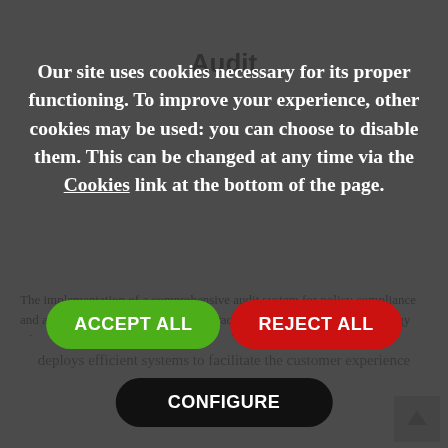Our site uses cookies necessary for its proper functioning. To improve your experience, other cookies may be used: you can choose to disable them. This can be changed at any time via the Cookies link at the bottom of the page.
[Figure (screenshot): Cookie consent dialog with three buttons: ACCEPT ALL (green), REJECT ALL (red), and CONFIGURE (black), overlaid on a dimmed page background showing partial text about an audit methodology system.]
deploys efficient systems to facilitate the customer experience and shop management.